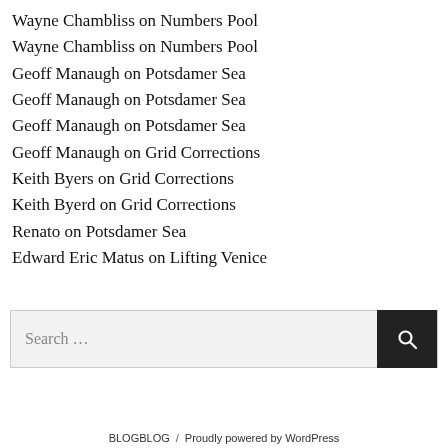Wayne Chambliss on Numbers Pool
Wayne Chambliss on Numbers Pool
Geoff Manaugh on Potsdamer Sea
Geoff Manaugh on Potsdamer Sea
Geoff Manaugh on Potsdamer Sea
Geoff Manaugh on Grid Corrections
Keith Byers on Grid Corrections
Keith Byerd on Grid Corrections
Renato on Potsdamer Sea
Edward Eric Matus on Lifting Venice
Search ...
BLOGBLOG / Proudly powered by WordPress